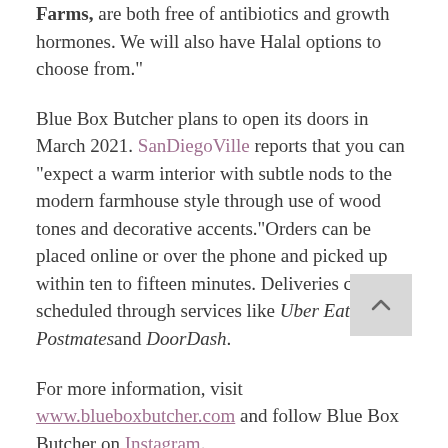Farms, are both free of antibiotics and growth hormones. We will also have Halal options to choose from."
Blue Box Butcher plans to open its doors in March 2021. SanDiegoVille reports that you can “expect a warm interior with subtle nods to the modern farmhouse style through use of wood tones and decorative accents.”Orders can be placed online or over the phone and picked up within ten to fifteen minutes. Deliveries can be scheduled through services like Uber Eats, Postmatesand DoorDash.
For more information, visit www.blueboxbutcher.com and follow Blue Box Butcher on Instagram.